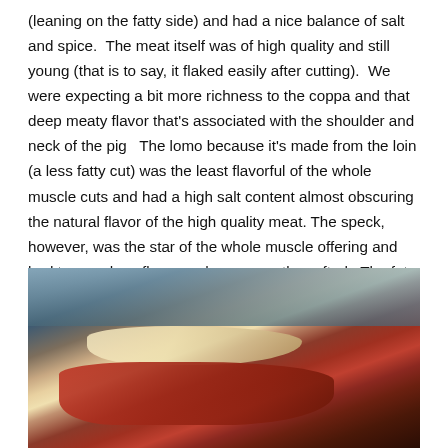(leaning on the fatty side) and had a nice balance of salt and spice.  The meat itself was of high quality and still young (that is to say, it flaked easily after cutting).  We were expecting a bit more richness to the coppa and that deep meaty flavor that's associated with the shoulder and neck of the pig   The lomo because it's made from the loin (a less fatty cut) was the least flavorful of the whole muscle cuts and had a high salt content almost obscuring the natural flavor of the high quality meat. The speck, however, was the star of the whole muscle offering and had tremendous flavor and was expertly crafted.  The fat portion of the speck had an almost lardo texture and mouth feel.  The quantity of smoke in the cut was perfect.
[Figure (photo): Close-up photo of a cured meat cut (speck or similar whole muscle product) showing dark red meat with white fat cap, on what appears to be a cutting board in a kitchen setting.]